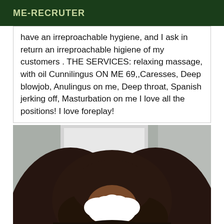ME-RECRUTER
have an irreproachable hygiene, and I ask in return an irreproachable higiene of my customers . THE SERVICES: relaxing massage, with oil Cunnilingus ON ME 69,,Caresses, Deep blowjob, Anulingus on me, Deep throat, Spanish jerking off, Masturbation on me I love all the positions! I love foreplay!
[Figure (photo): Photo of a person with long curly dark hair, wearing glasses, with face censored by a white cloud/blur overlay. Indoor background with door visible.]